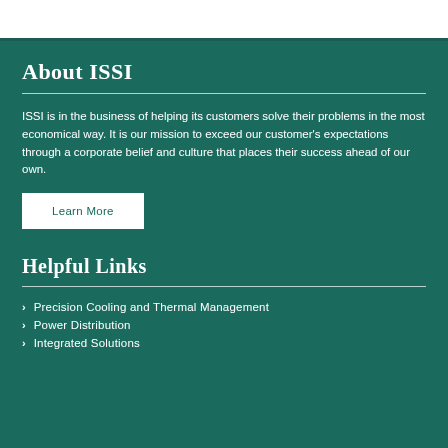About ISSI
ISSI is in the business of helping its customers solve their problems in the most economical way. It is our mission to exceed our customer's expectations through a corporate belief and culture that places their success ahead of our own.
Learn More
Helpful Links
Precision Cooling and Thermal Management
Power Distribution
Integrated Solutions